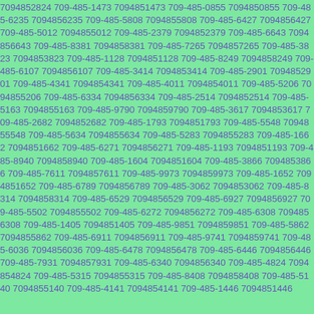7094852824 709-485-1473 7094851473 709-485-0855 7094850855 709-485-6235 7094856235 709-485-5808 7094855808 709-485-6427 7094856427 709-485-5012 7094855012 709-485-2379 7094852379 709-485-6643 7094856643 709-485-8381 7094858381 709-485-7265 7094857265 709-485-3823 7094853823 709-485-1128 7094851128 709-485-8249 7094858249 709-485-6107 7094856107 709-485-3414 7094853414 709-485-2901 7094852901 709-485-4341 7094854341 709-485-4011 7094854011 709-485-5206 7094855206 709-485-6334 7094856334 709-485-2514 7094852514 709-485-5163 7094855163 709-485-9790 7094859790 709-485-3617 7094853617 709-485-2682 7094852682 709-485-1793 7094851793 709-485-5548 7094855548 709-485-5634 7094855634 709-485-5283 7094855283 709-485-1662 7094851662 709-485-6271 7094856271 709-485-1193 7094851193 709-485-8940 7094858940 709-485-1604 7094851604 709-485-3866 7094853866 709-485-7611 7094857611 709-485-9973 7094859973 709-485-1652 7094851652 709-485-6789 7094856789 709-485-3062 7094853062 709-485-8314 7094858314 709-485-6529 7094856529 709-485-6927 7094856927 709-485-5502 7094855502 709-485-6272 7094856272 709-485-6308 7094856308 709-485-1405 7094851405 709-485-9851 7094859851 709-485-5862 7094855862 709-485-6911 7094856911 709-485-9741 7094859741 709-485-6036 7094856036 709-485-6478 7094856478 709-485-6446 7094856446 709-485-7931 7094857931 709-485-6340 7094856340 709-485-4824 7094854824 709-485-5315 7094855315 709-485-8408 7094858408 709-485-5140 7094855140 709-485-4141 7094854141 709-485-1446 7094851446